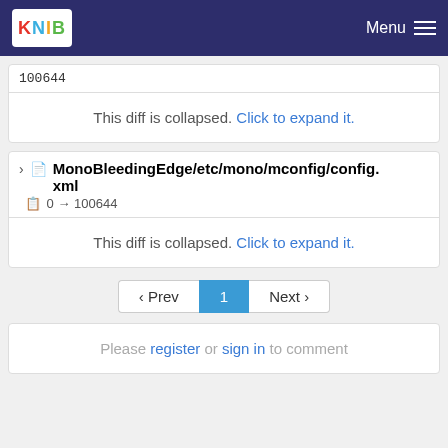KNIB — Menu
100644
This diff is collapsed. Click to expand it.
MonoBleedingEdge/etc/mono/mconfig/config.xml  0 → 100644
This diff is collapsed. Click to expand it.
‹ Prev  1  Next ›
Please register or sign in to comment